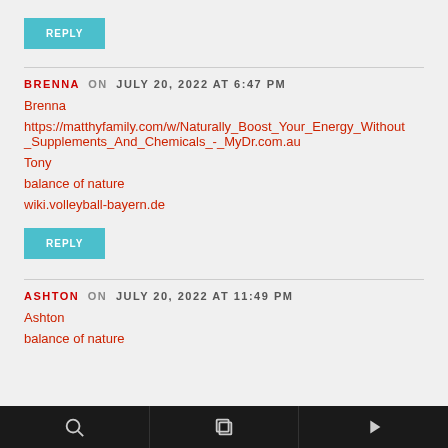REPLY
BRENNA  ON  JULY 20, 2022 AT 6:47 PM
Brenna
https://matthyfamily.com/w/Naturally_Boost_Your_Energy_Without_Supplements_And_Chemicals_-_MyDr.com.au
Tony
balance of nature
wiki.volleyball-bayern.de
REPLY
ASHTON  ON  JULY 20, 2022 AT 11:49 PM
Ashton
balance of nature